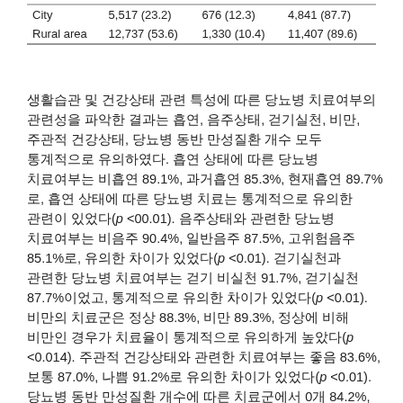|  | Total n (%) | Treatment n (%) | Non-treatment n (%) |
| --- | --- | --- | --- |
| City | 5,517 (23.2) | 676 (12.3) | 4,841 (87.7) |
| Rural area | 12,737 (53.6) | 1,330 (10.4) | 11,407 (89.6) |
생활습관 및 건강상태 관련 특성에 따른 당뇨병 치료여부의 관련성을 파악한 결과는 흡연, 음주상태, 걷기실천, 비만, 주관적 건강상태, 당뇨병 동반 만성질환 개수 모두 통계적으로 유의하였다. 흡연 상태에 따른 당뇨병 치료여부는 비흡연 89.1%, 과거흡연 85.3%, 현재흡연 89.7%로, 흡연 상태에 따른 당뇨병 치료는 통계적으로 유의한 관련이 있었다(p <00.01). 음주상태와 관련한 당뇨병 치료여부는 비음주 90.4%, 일반음주 87.5%, 고위험음주 85.1%로, 유의한 차이가 있었다(p <0.01). 걷기실천과 관련한 당뇨병 치료여부는 걷기 비실천 91.7%, 걷기실천 87.7%이었고, 통계적으로 유의한 차이가 있었다(p <0.01). 비만의 치료군은 정상 88.3%, 비만 89.3%, 정상에 비해 비만인 경우가 치료율이 통계적으로 유의하게 높았다(p <0.014). 주관적 건강상태와 관련한 치료여부는 좋음 83.6%, 보통 87.0%, 나쁨 91.2%로 유의한 차이가 있었다(p <0.01). 당뇨병 동반 만성질환 개수에 따른 치료군에서 0개 84.2%, 1-2개 89.6%, 3-5개 90.9%이었고, 유의한 차이가 있었다(p <0.01) (Table 3).